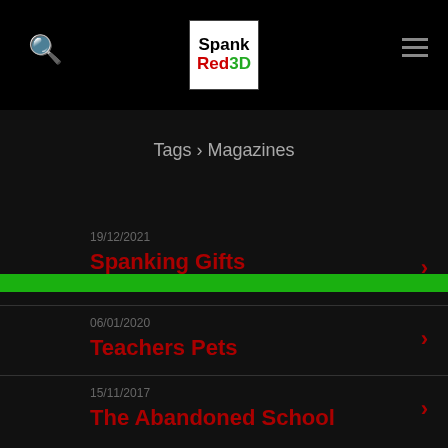SpankRed3D
Tags › Magazines
19/12/2021 — Spanking Gifts
06/01/2020 — Teachers Pets
15/11/2017 — The Abandoned School